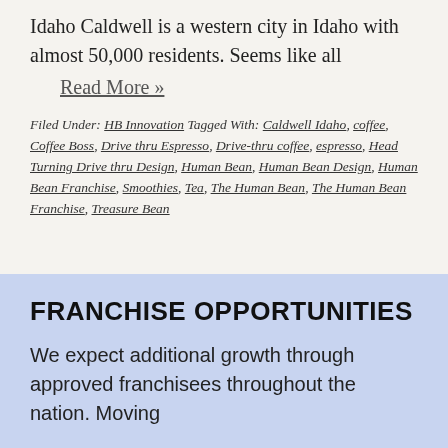Idaho Caldwell is a western city in Idaho with almost 50,000 residents. Seems like all
Read More »
Filed Under: HB Innovation Tagged With: Caldwell Idaho, coffee, Coffee Boss, Drive thru Espresso, Drive-thru coffee, espresso, Head Turning Drive thru Design, Human Bean, Human Bean Design, Human Bean Franchise, Smoothies, Tea, The Human Bean, The Human Bean Franchise, Treasure Bean
FRANCHISE OPPORTUNITIES
We expect additional growth through approved franchisees throughout the nation. Moving